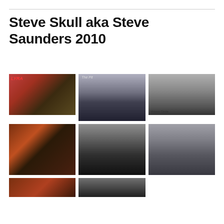Steve Skull aka Steve Saunders 2010
[Figure (photo): Lyra band collage with colourful images and red logo text]
[Figure (photo): The Pit band photo with four long-haired members standing in front of a red door, black and white/colour photo]
[Figure (photo): Black and white band photo with Vicious Circle logo at bottom, five members]
[Figure (photo): Steve Skull playing electric guitar on stage with orange stage lighting]
[Figure (photo): Band photo of four members in black standing on rubble, with border frame]
[Figure (photo): Close-up portrait of Steve Saunders in black t-shirt against grey cobblestone background]
[Figure (photo): Partial photo at bottom left, dark toned]
[Figure (photo): Partial photo at bottom centre, dark toned]